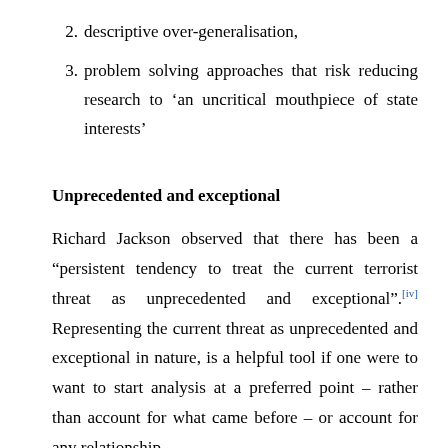2. descriptive over-generalisation,
3. problem solving approaches that risk reducing research to 'an uncritical mouthpiece of state interests'
Unprecedented and exceptional
Richard Jackson observed that there has been a "persistent tendency to treat the current terrorist threat as unprecedented and exceptional".[iv] Representing the current threat as unprecedented and exceptional in nature, is a helpful tool if one were to want to start analysis at a preferred point – rather than account for what came before – or account for any relationship